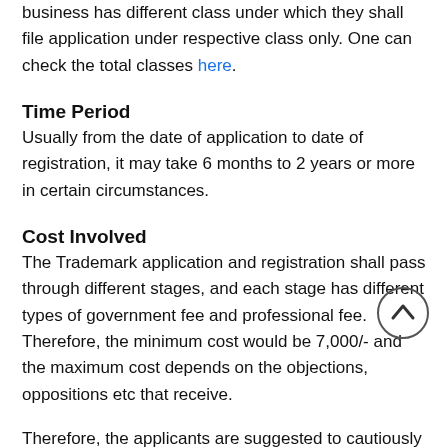business has different class under which they shall file application under respective class only. One can check the total classes here.
Time Period
Usually from the date of application to date of registration, it may take 6 months to 2 years or more in certain circumstances.
Cost Involved
The Trademark application and registration shall pass through different stages, and each stage has different types of government fee and professional fee. Therefore, the minimum cost would be 7,000/- and the maximum cost depends on the objections, oppositions etc that receive.
Therefore, the applicants are suggested to cautiously consult the existing Trademark before making for...